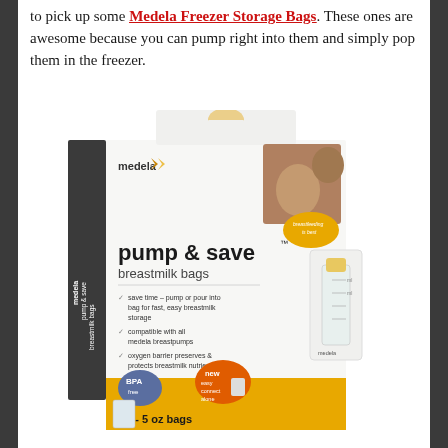to pick up some Medela Freezer Storage Bags. These ones are awesome because you can pump right into them and simply pop them in the freezer.
[Figure (photo): Product photo of Medela pump & save breastmilk bags box. Box is white with yellow/gold accents. Shows 'medela' brand name and logo (leaf/wing), 'pump & save breastmilk bags' text, bullet points listing features: save time – pump or pour into bag for fast, easy breastmilk storage; compatible with all medela breastpumps; oxygen barrier preserves & protects breastmilk nutrients. Also shows 'new easy connect alone' badge, 'BPA free' badge, '20 - 5 oz bags' at bottom, photo of mother and baby in upper right corner, and image of a breastmilk storage bottle on right side.]